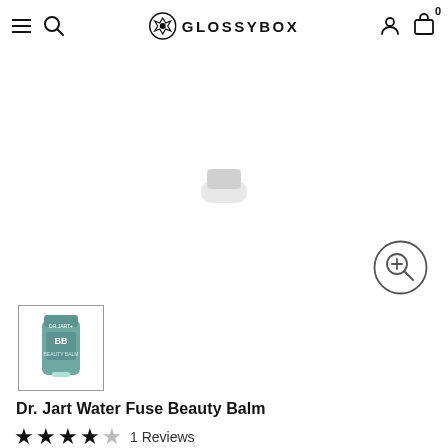GLOSSYBOX
[Figure (photo): Product image of Dr. Jart Water Fuse Beauty Balm tube, teal/green color with white cap, partial view from top]
[Figure (photo): Thumbnail image of Dr. Jart Water Fuse Beauty Balm BB cream tube in teal/green color]
Dr. Jart Water Fuse Beauty Balm
1 Reviews